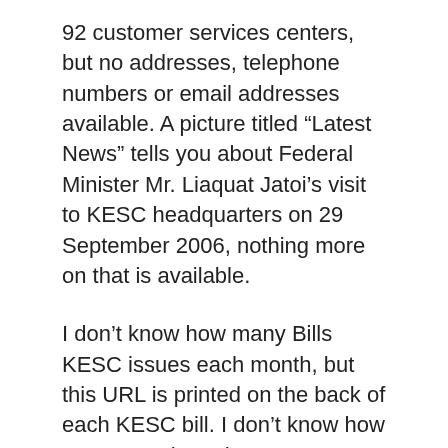92 customer services centers, but no addresses, telephone numbers or email addresses available. A picture titled “Latest News” tells you about Federal Minister Mr. Liaquat Jatoi’s visit to KESC headquarters on 29 September 2006, nothing more on that is available.
I don’t know how many Bills KESC issues each month, but this URL is printed on the back of each KESC bill. I don’t know how many people make an attempt to look at the KESC website each day or month. But I find it quite suprising that they are so careless about all this.
The website (a poster actually) doesn’t disclose any contact information so I was unable to contact people who are responsible for this job at KESC. It has a link at